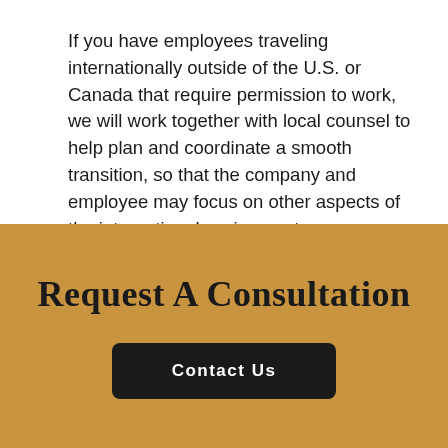If you have employees traveling internationally outside of the U.S. or Canada that require permission to work, we will work together with local counsel to help plan and coordinate a smooth transition, so that the company and employee may focus on other aspects of the international assignment.
Request A Consultation
Contact Us